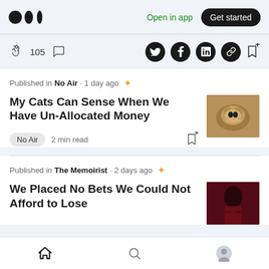Medium logo | Open in app | Get started
105 claps | comment | Twitter | Facebook | LinkedIn | Link | Bookmark
Published in No Air · 1 day ago ✦
My Cats Can Sense When We Have Un-Allocated Money
No Air  2 min read
Published in The Memoirist · 2 days ago ✦
We Placed No Bets We Could Not Afford to Lose
Home | Search | Profile